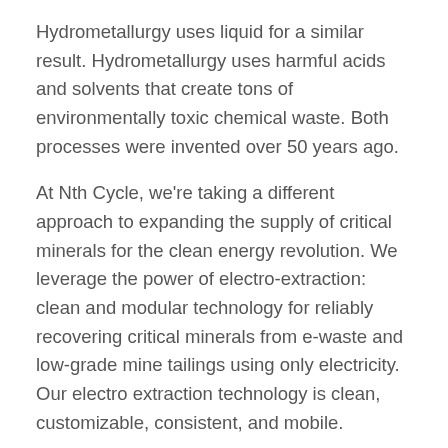Hydrometallurgy uses liquid for a similar result. Hydrometallurgy uses harmful acids and solvents that create tons of environmentally toxic chemical waste. Both processes were invented over 50 years ago.
At Nth Cycle, we're taking a different approach to expanding the supply of critical minerals for the clean energy revolution. We leverage the power of electro-extraction: clean and modular technology for reliably recovering critical minerals from e-waste and low-grade mine tailings using only electricity. Our electro extraction technology is clean, customizable, consistent, and mobile.
Electrek: How often can materials be recycled?
Megan O'Connor: In theory, the number is unlimited. It's a big part of why I believe that all the critical minerals